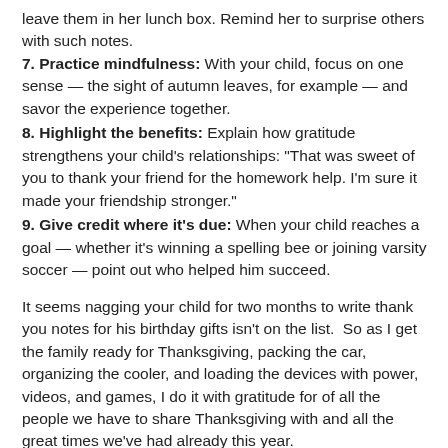leave them in her lunch box. Remind her to surprise others with such notes.
7. Practice mindfulness: With your child, focus on one sense — the sight of autumn leaves, for example — and savor the experience together.
8. Highlight the benefits: Explain how gratitude strengthens your child's relationships: “That was sweet of you to thank your friend for the homework help. I'm sure it made your friendship stronger.”
9. Give credit where it’s due: When your child reaches a goal — whether it’s winning a spelling bee or joining varsity soccer — point out who helped him succeed.
It seems nagging your child for two months to write thank you notes for his birthday gifts isn't on the list.  So as I get the family ready for Thanksgiving, packing the car, organizing the cooler, and loading the devices with power, videos, and games, I do it with gratitude for of all the people we have to share Thanksgiving with and all the great times we've had already this year.